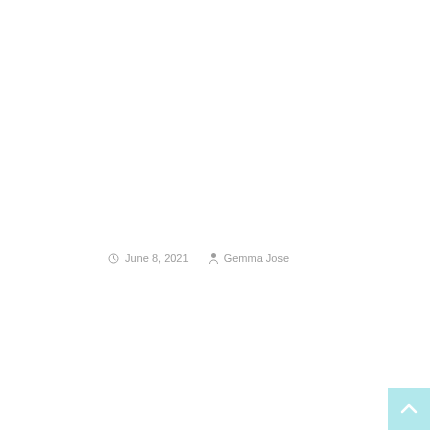June 8, 2021  Gemma Jose
[Figure (other): Back to top button — light blue/cyan square with upward-pointing chevron/caret arrow in white, positioned at bottom-right corner of page]